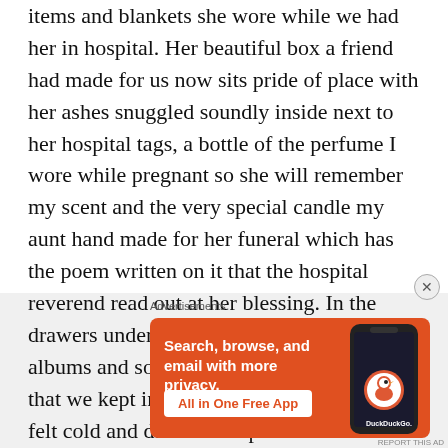items and blankets she wore while we had her in hospital. Her beautiful box a friend had made for us now sits pride of place with her ashes snuggled soundly inside next to her hospital tags, a bottle of the perfume I wore while pregnant so she will remember my scent and the very special candle my aunt hand made for her funeral which has the poem written on it that the hospital reverend read out at her blessing. In the drawers underneath her ashes lies her photo albums and some special pieces of clothing that we kept in her room for her. The room felt cold and dark in comparison to how it felt before and the times spent laughing, smiling and playing music to her
[Figure (screenshot): DuckDuckGo advertisement banner: orange background with white text 'Search, browse, and email with more privacy.' and button 'All in One Free App' with DuckDuckGo logo on a phone graphic.]